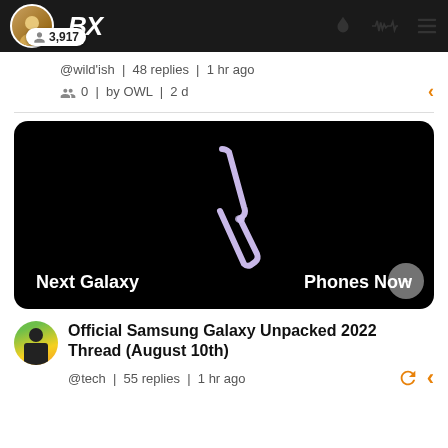BX — navigation header with avatar, BX logo, flame icon, waveform icon, menu icon
@wild'ish | 48 replies | 1 hr ago
👥 0 | by OWL | 2 d
[Figure (screenshot): Samsung Galaxy Unpacked promotional banner on black background showing a folded phone silhouette in purple/lavender forming a chevron shape, with white bold text 'Next Galaxy' on the left and 'Phones Now' on the right]
Official Samsung Galaxy Unpacked 2022 Thread (August 10th)
@tech | 55 replies | 1 hr ago